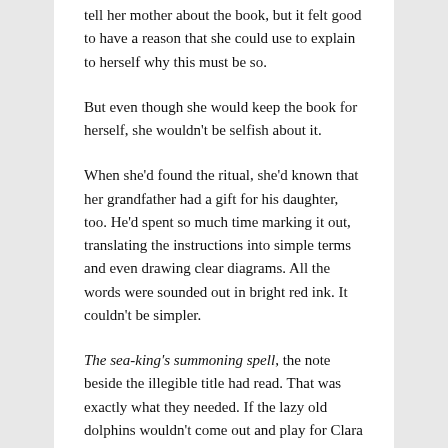tell her mother about the book, but it felt good to have a reason that she could use to explain to herself why this must be so.
But even though she would keep the book for herself, she wouldn't be selfish about it.
When she'd found the ritual, she'd known that her grandfather had a gift for his daughter, too. He'd spent so much time marking it out, translating the instructions into simple terms and even drawing clear diagrams. All the words were sounded out in bright red ink. It couldn't be simpler.
The sea-king's summoning spell, the note beside the illegible title had read. That was exactly what they needed. If the lazy old dolphins wouldn't come out and play for Clara or her mother, she